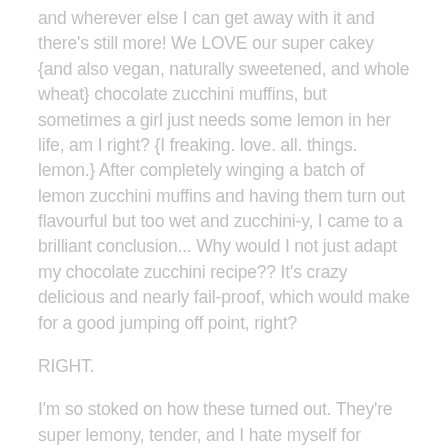and wherever else I can get away with it and there's still more!  We LOVE our super cakey {and also vegan, naturally sweetened, and whole wheat} chocolate zucchini muffins, but sometimes a girl just needs some lemon in her life, am I right?  {I freaking. love. all. things. lemon.}  After completely winging a batch of lemon zucchini muffins and having them turn out flavourful but too wet and zucchini-y, I came to a brilliant conclusion...  Why would I not just adapt my chocolate zucchini recipe??  It's crazy delicious and nearly fail-proof, which would make for a good jumping off point, right?
RIGHT.
I'm so stoked on how these turned out.  They're super lemony, tender, and I hate myself for saying it, but MOIST. (Gag! Grossest word in existence.)  The only thing I may